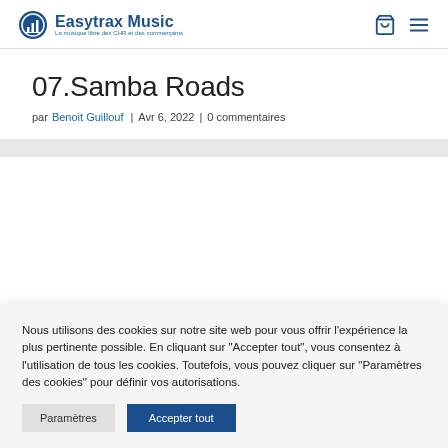Easytrax Music — La musique libre des CHR et des commerçants
07.Samba Roads
par Benoit Guillouf | Avr 6, 2022 | 0 commentaires
Nous utilisons des cookies sur notre site web pour vous offrir l'expérience la plus pertinente possible. En cliquant sur "Accepter tout", vous consentez à l'utilisation de tous les cookies. Toutefois, vous pouvez cliquer sur "Paramètres des cookies" pour définir vos autorisations.